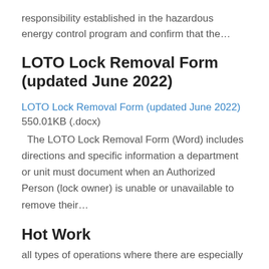responsibility established in the hazardous energy control program and confirm that the…
LOTO Lock Removal Form (updated June 2022)
LOTO Lock Removal Form (updated June 2022)
550.01KB (.docx)
  The LOTO Lock Removal Form (Word) includes directions and specific information a department or unit must document when an Authorized Person (lock owner) is unable or unavailable to remove their…
Hot Work
all types of operations where there are especially